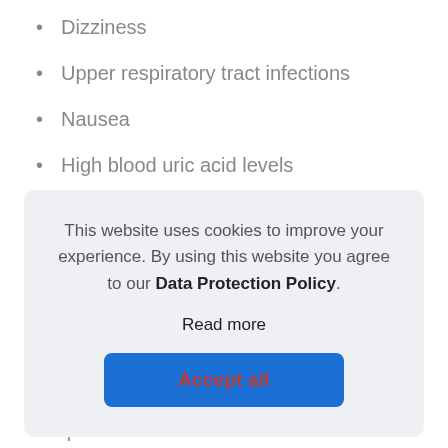Dizziness
Upper respiratory tract infections
Nausea
High blood uric acid levels
There are also additional warning for patients with
This website uses cookies to improve your experience. By using this website you agree to our Data Protection Policy.

Read more

Accept all
hospitalisations